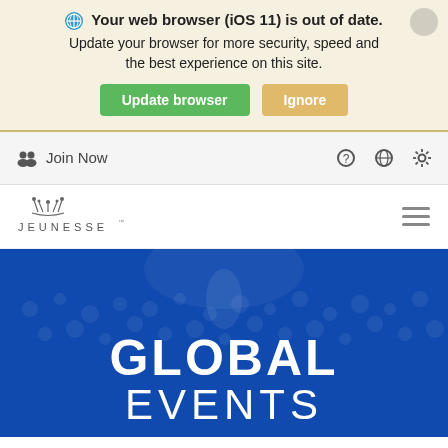Your web browser (iOS 11) is out of date. Update your browser for more security, speed and the best experience on this site.
Update browser
Ignore
Join Now
[Figure (screenshot): Jeunesse logo with decorative crown/flower icon above the JEUNESSE wordmark in uppercase letters with wide tracking]
[Figure (photo): Blue-toned hero image of a large crowd at a Jeunesse Global Events presentation, with a person on stage. Text overlay reads GLOBAL EVENTS in large white letters.]
GLOBAL EVENTS